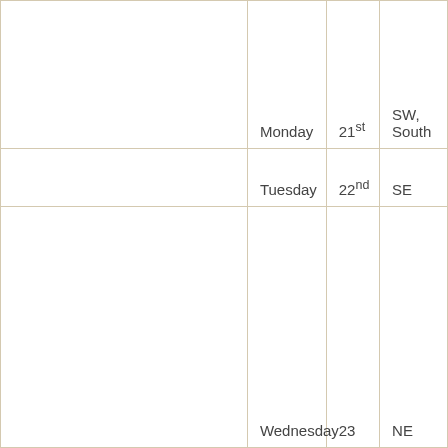|  | Day | Date | Direction |
| --- | --- | --- | --- |
|  | Monday | 21st | SW, South |
|  | Tuesday | 22nd | SE |
|  | Wednesday | 23 | NE |